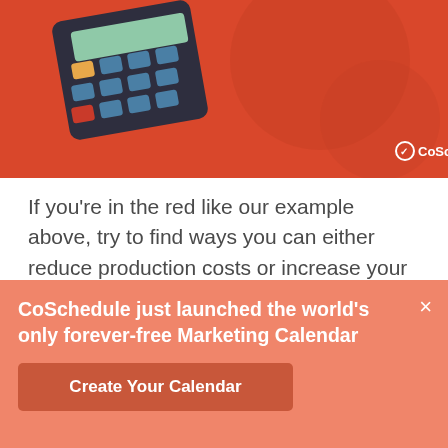[Figure (illustration): Red background banner with a calculator illustration in the top-left and CoSchedule logo in the bottom-right corner]
If you're in the red like our example above, try to find ways you can either reduce production costs or increase your return.
Here are some other examples to help you understand this better:
Say you run a SaaS company, and spend around
CoSchedule just launched the world's only forever-free Marketing Calendar
Create Your Calendar